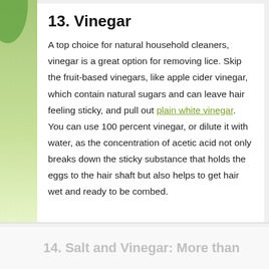13. Vinegar
A top choice for natural household cleaners, vinegar is a great option for removing lice. Skip the fruit-based vinegars, like apple cider vinegar, which contain natural sugars and can leave hair feeling sticky, and pull out plain white vinegar. You can use 100 percent vinegar, or dilute it with water, as the concentration of acetic acid not only breaks down the sticky substance that holds the eggs to the hair shaft but also helps to get hair wet and ready to be combed.
14. Salt and Vinegar: More than